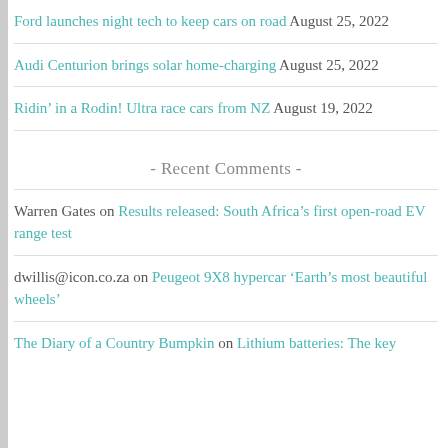Ford launches night tech to keep cars on road August 25, 2022
Audi Centurion brings solar home-charging August 25, 2022
Ridin' in a Rodin! Ultra race cars from NZ August 19, 2022
- Recent Comments -
Warren Gates on Results released: South Africa's first open-road EV range test
dwillis@icon.co.za on Peugeot 9X8 hypercar 'Earth's most beautiful wheels'
The Diary of a Country Bumpkin on Lithium batteries: The key